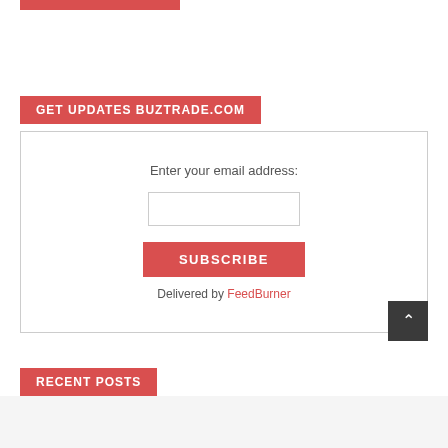GET UPDATES BUZTRADE.COM
Enter your email address:
SUBSCRIBE
Delivered by FeedBurner
RECENT POSTS